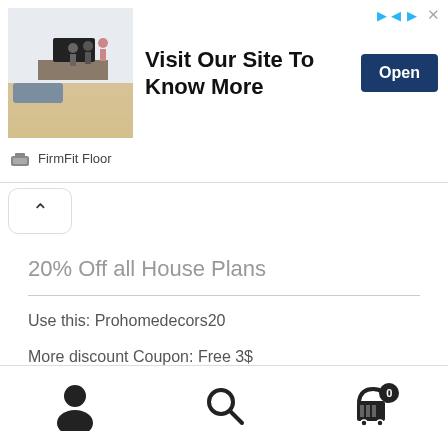[Figure (screenshot): Advertisement banner for FirmFit Floor showing a living room photo, text 'Visit Our Site To Know More', and an Open button]
FirmFit Floor
20% Off all House Plans
Use this: Prohomedecors20
More discount Coupon: Free 3$
[Figure (infographic): Bottom navigation bar with user profile icon, search icon, and shopping cart icon with badge showing 0]